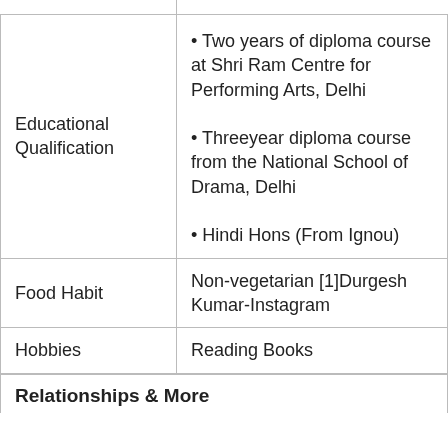|  |  |
| --- | --- |
| Educational Qualification | • Two years of diploma course at Shri Ram Centre for Performing Arts, Delhi
• Threeyear diploma course from the National School of Drama, Delhi
• Hindi Hons (From Ignou) |
| Food Habit | Non-vegetarian [1]Durgesh Kumar-Instagram |
| Hobbies | Reading Books |
Relationships & More